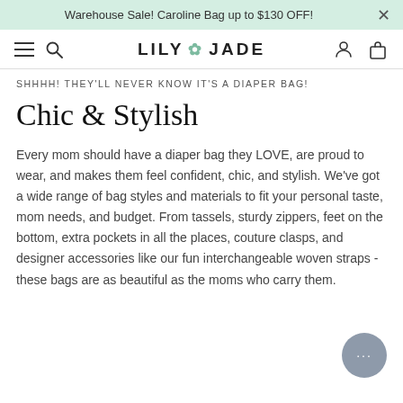Warehouse Sale! Caroline Bag up to $130 OFF!
LILY JADE
SHHHH! THEY'LL NEVER KNOW IT'S A DIAPER BAG!
Chic & Stylish
Every mom should have a diaper bag they LOVE, are proud to wear, and makes them feel confident, chic, and stylish. We've got a wide range of bag styles and materials to fit your personal taste, mom needs, and budget. From tassels, sturdy zippers, feet on the bottom, extra pockets in all the places, couture clasps, and designer accessories like our fun interchangeable woven straps - these bags are as beautiful as the moms who carry them.